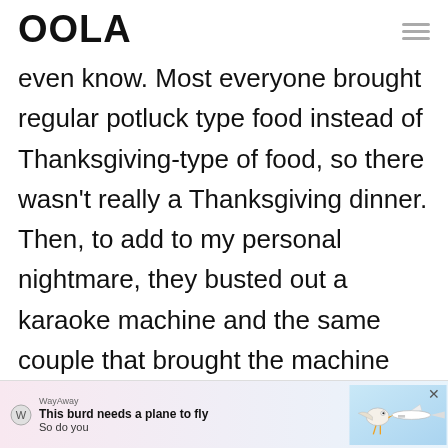OOLA
even know. Most everyone brought regular potluck type food instead of Thanksgiving-type of food, so there wasn't really a Thanksgiving dinner. Then, to add to my personal nightmare, they busted out a karaoke machine and the same couple that brought the machine
[Figure (screenshot): WayAway advertisement banner with text 'This burd needs a plane to fly / So do you' and an illustration of a bird with a plane]